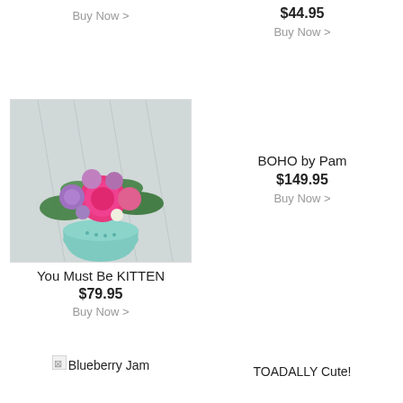Buy Now >
$44.95
Buy Now >
[Figure (photo): Flower arrangement in a teal/mint green round vase with pink peonies, purple flowers, and green foliage on a white wood background]
BOHO by Pam
$149.95
Buy Now >
You Must Be KITTEN
$79.95
Buy Now >
[Figure (photo): Blueberry Jam broken image icon]
Blueberry Jam
TOADALLY Cute!